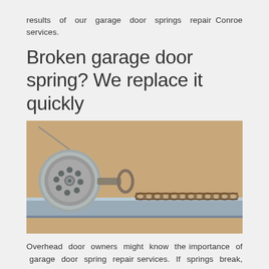results of our garage door springs repair Conroe services.
Broken garage door spring? We replace it quickly
[Figure (photo): Close-up photograph of a garage door spring mechanism showing a metal pulley wheel and a coiled extension spring attached to a metal track bar.]
Overhead door owners might know the importance of garage door spring repair services. If springs break, the door slides down. If it is shut, it won't open. The job of springs is to lift the door, keep it open and lower it down with safety. If they fail to do so,